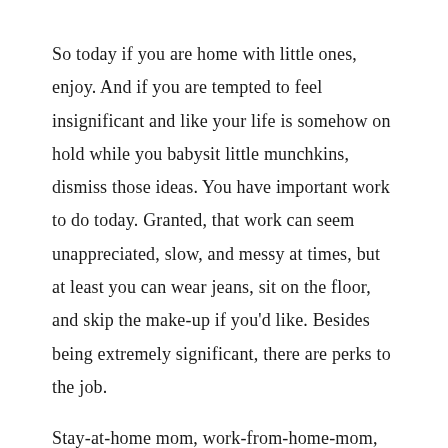So today if you are home with little ones, enjoy. And if you are tempted to feel insignificant and like your life is somehow on hold while you babysit little munchkins, dismiss those ideas. You have important work to do today. Granted, that work can seem unappreciated, slow, and messy at times, but at least you can wear jeans, sit on the floor, and skip the make-up if you'd like. Besides being extremely significant, there are perks to the job.
Stay-at-home mom, work-from-home-mom, working mom, single mom. Whether you have all day with your child and you find yourself longing for adult conversation or you come home weary